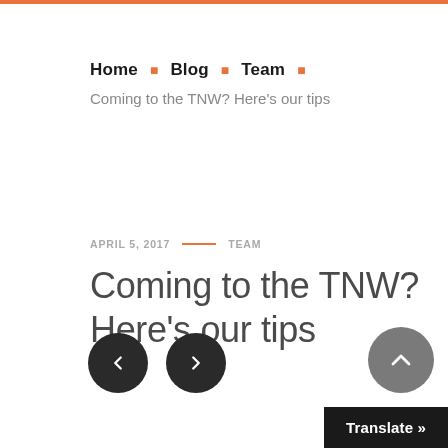Home · Blog · Team
Coming to the TNW? Here's our tips
APRIL 5, 2017 — TEAM
Coming to the TNW? Here's our tips